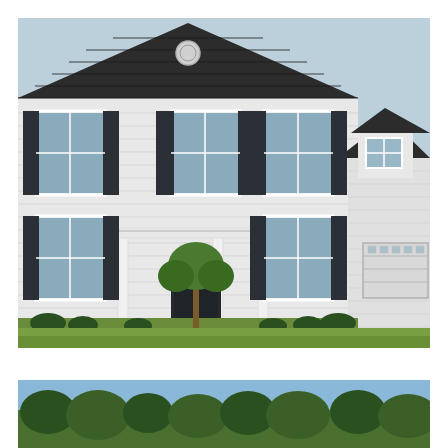[Figure (photo): Two-story suburban colonial-style house with white vinyl siding, dark charcoal/black shutters and roof, two-car garage on the right, front porch with columns, small young tree in the front yard, green grass lawn, shrubs along foundation, overcast sky.]
[Figure (photo): Partial view of another house or the same neighborhood, showing green trees and blue sky at the bottom of the page.]